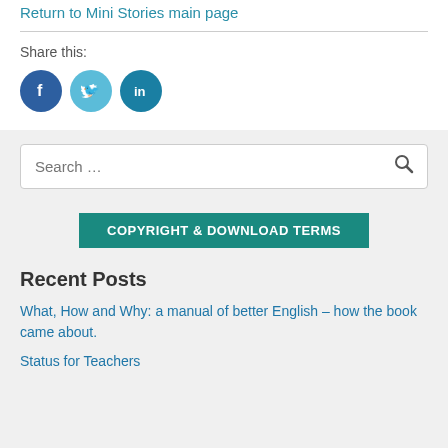Return to Mini Stories main page
Share this:
[Figure (infographic): Three social media icon circles: Facebook (dark blue), Twitter (light blue), LinkedIn (teal)]
Search …
[Figure (other): COPYRIGHT & DOWNLOAD TERMS button in teal]
Recent Posts
What, How and Why: a manual of better English – how the book came about.
Status for Teachers